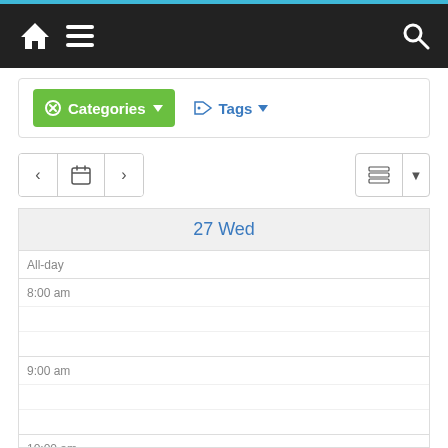[Figure (screenshot): Mobile app top navigation bar with home icon, hamburger menu icon on dark background with blue top border, and search icon on the right]
Categories (with close icon and dropdown arrow)
Tags (with tag icon and dropdown arrow)
[Figure (screenshot): Calendar navigation bar with back arrow, calendar icon, forward arrow on left, and view switcher with list icon and dropdown arrow on right]
27 Wed
All-day
8:00 am
9:00 am
10:00 am
11:00 am
12:00 pm